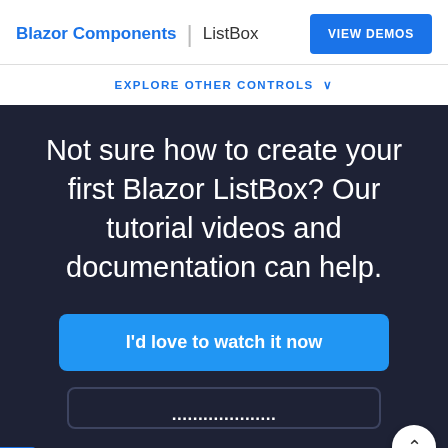Blazor Components | ListBox
EXPLORE OTHER CONTROLS
Not sure how to create your first Blazor ListBox? Our tutorial videos and documentation can help.
I'd love to watch it now
We use cookies to give you the best experience on our website. If you continue to browse, then you agree to our privacy policy and cookie policy. (Last updated on: April 7, 2021)
OK
Feedback